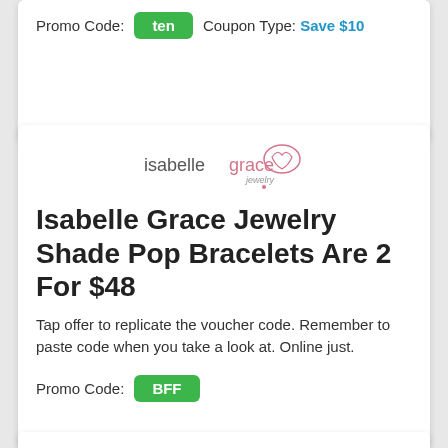Promo Code: ten   Coupon Type: Save $10
[Figure (logo): Isabelle Grace jewelry logo]
Isabelle Grace Jewelry Shade Pop Bracelets Are 2 For $48
Tap offer to replicate the voucher code. Remember to paste code when you take a look at. Online just.
Promo Code: BFF
[Figure (logo): Isabelle Grace jewelry logo]
Isabelle Grace Jewelry Take